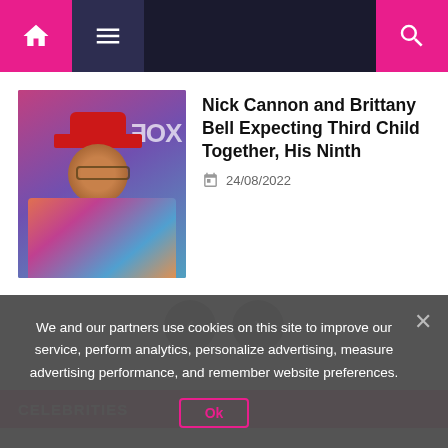Navigation bar with home, menu, and search icons
[Figure (photo): Photo of Nick Cannon wearing a red hat and colorful patterned jacket at a FOX event]
Nick Cannon and Brittany Bell Expecting Third Child Together, His Ninth
24/08/2022
CELEBRITIES
We and our partners use cookies on this site to improve our service, perform analytics, personalize advertising, measure advertising performance, and remember website preferences.